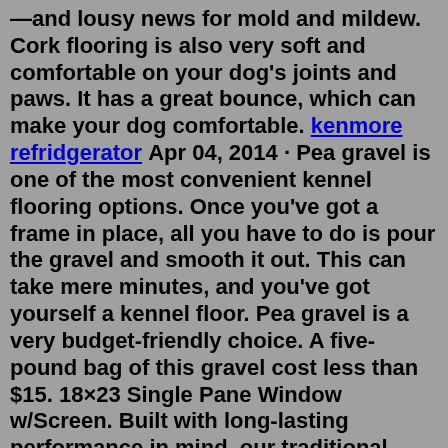—and lousy news for mold and mildew. Cork flooring is also very soft and comfortable on your dog's joints and paws. It has a great bounce, which can make your dog comfortable. kenmore refridgerator Apr 04, 2014 · Pea gravel is one of the most convenient kennel flooring options. Once you've got a frame in place, all you have to do is pour the gravel and smooth it out. This can take mere minutes, and you've got yourself a kennel floor. Pea gravel is a very budget-friendly choice. A five-pound bag of this gravel cost less than $15. 18×23 Single Pane Window w/Screen. Built with long-lasting performance in mind, our traditional series of residential outdoor dog kennels are the perfect solution for your pets. Included in this feature-packed outdoor dog kennel is an insulated living box that is lined with a glass board for easy cleaning and a chew proof dog door with ... Jul 23, 2022 · INTERLOCKING FLOOR GRIDS make the perfect dog flooring for kennels, cages and more. Smooth, even surface won't harbor bacteria or absorb liquids. Withstands pressure washing and